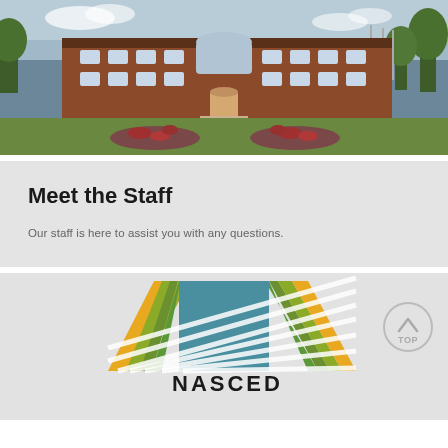[Figure (photo): University building exterior — a large brick academic building with manicured grounds, flower beds, and walkways leading to the entrance.]
Meet the Staff
Our staff is here to assist you with any questions.
[Figure (logo): NASCED organization logo — colorful vertical and diagonal stripes in gold, green, teal, and olive forming a square grid pattern with the letters NASCED beneath.]